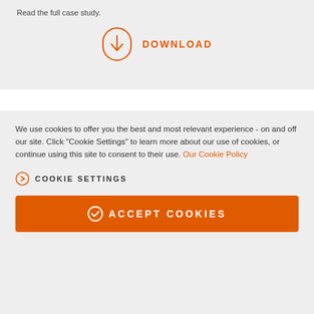Read the full case study.
[Figure (illustration): Orange download icon (circle with downward arrow) and the text DOWNLOAD in orange]
We use cookies to offer you the best and most relevant experience - on and off our site. Click "Cookie Settings" to learn more about our use of cookies, or continue using this site to consent to their use. Our Cookie Policy
COOKIE SETTINGS
ACCEPT COOKIES